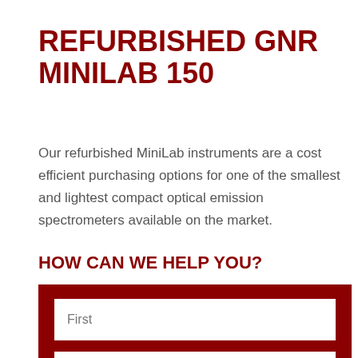REFURBISHED GNR MINILAB 150
Our refurbished MiniLab instruments are a cost efficient purchasing options for one of the smallest and lightest compact optical emission spectrometers available on the market.
HOW CAN WE HELP YOU?
[Figure (other): A contact form with three visible input fields labeled First, Email, and Phone, set against a dark red background.]